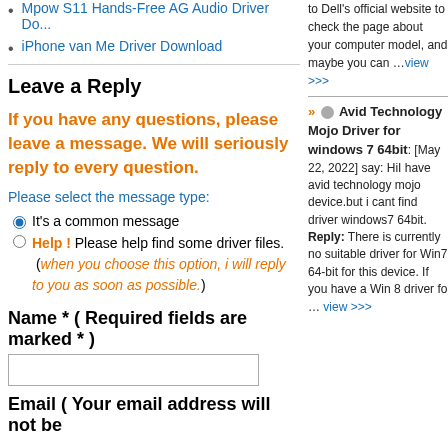Mpow S11 Hands-Free AG Audio Driver Do...
iPhone van Me Driver Download
Leave a Reply
If you have any questions, please leave a message. We will seriously reply to every question.
Please select the message type:
It's a common message
Help ! Please help find some driver files. (when you choose this option, i will reply to you as soon as possible.)
Name * ( Required fields are marked * )
Email ( Your email address will not be
to Dell's official website to check the page about your computer model, and maybe you can …view >>>
» Avid Technology Mojo Driver for windows 7 64bit: [May 22, 2022] say: HiI have avid technology mojo device.but i cant find driver windows7 64bit. Reply: There is currently no suitable driver for Win7 64-bit for this device. If you have a Win 8 driver fo … view >>>